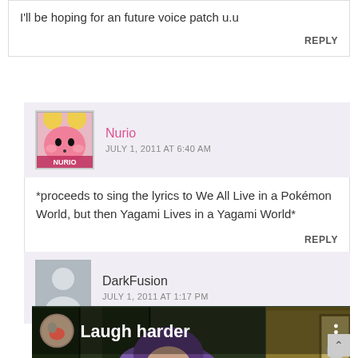I'll be hoping for an future voice patch u.u
REPLY
Nurio
JULY 1, 2011 AT 6:40 AM
*proceeds to sing the lyrics to We All Live in a Pokémon World, but then Yagami Lives in a Yagami World*
REPLY
DarkFusion
JULY 1, 2011 AT 1:17 PM
[Figure (screenshot): Screenshot of a video or app showing 'Laugh harder' text over an anime scene with a character in the foreground]